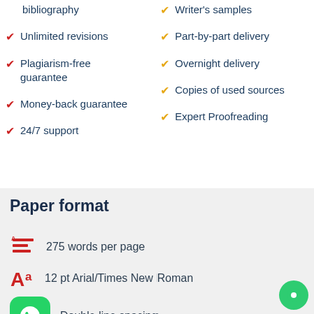bibliography
Unlimited revisions
Plagiarism-free guarantee
Money-back guarantee
24/7 support
Writer's samples
Part-by-part delivery
Overnight delivery
Copies of used sources
Expert Proofreading
Paper format
275 words per page
12 pt Arial/Times New Roman
Double line spacing